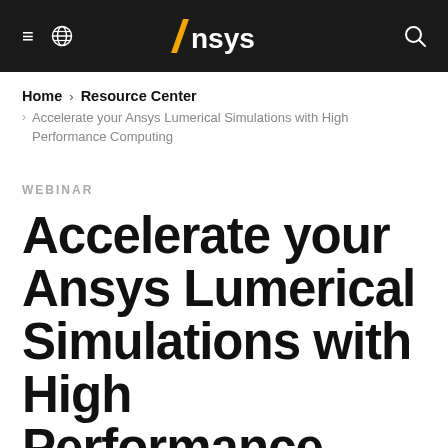Ansys
Home › Resource Center
› Accelerate your Ansys Lumerical Simulations with High Performance Computing
WEBINAR
Accelerate your Ansys Lumerical Simulations with High Performance